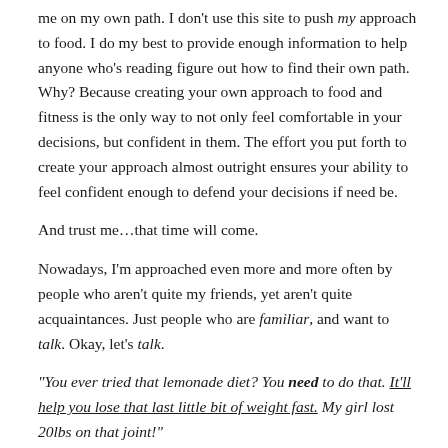me on my own path. I don't use this site to push my approach to food. I do my best to provide enough information to help anyone who's reading figure out how to find their own path. Why? Because creating your own approach to food and fitness is the only way to not only feel comfortable in your decisions, but confident in them. The effort you put forth to create your approach almost outright ensures your ability to feel confident enough to defend your decisions if need be.
And trust me…that time will come.
Nowadays, I'm approached even more and more often by people who aren't quite my friends, yet aren't quite acquaintances. Just people who are familiar, and want to talk. Okay, let's talk.
"You ever tried that lemonade diet? You need to do that. It'll help you lose that last little bit of weight fast. My girl lost 20lbs on that joint!"